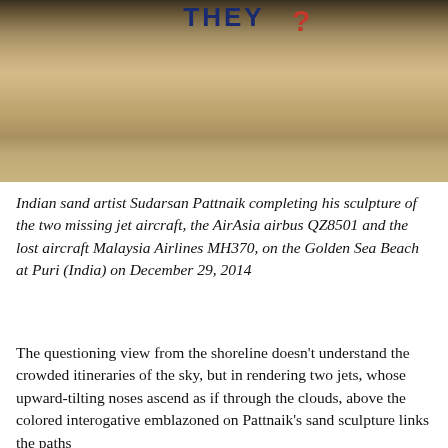[Figure (photo): Photograph of a sand sculpture on a beach showing text 'THEY?' with the word 'THEY' in dark blue block letters and a red question mark, set within swirling sand formations.]
Indian sand artist Sudarsan Pattnaik completing his sculpture of the two missing jet aircraft, the AirAsia airbus QZ8501 and the lost aircraft Malaysia Airlines MH370, on the Golden Sea Beach at Puri (India) on December 29, 2014
The questioning view from the shoreline doesn't understand the crowded itineraries of the sky, but in rendering two jets, whose upward-tilting noses ascend as if through the clouds, above the colored interogative emblazoned on Pattnaik's sand sculpture links the paths